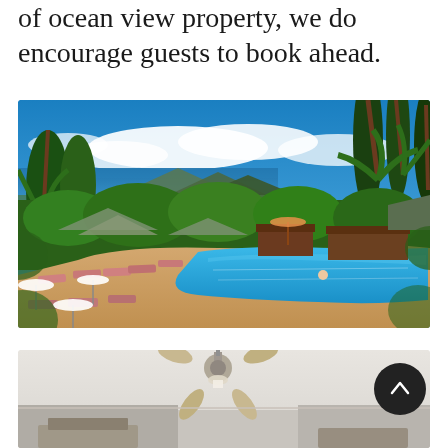of ocean view property, we do encourage guests to book ahead.
[Figure (photo): Aerial view of a tropical resort pool surrounded by palm trees and lush greenery, with ocean and mountain views in the background under a blue sky with white clouds. Pink lounge chairs and white umbrellas line the pool deck.]
[Figure (photo): Interior room photo showing a ceiling fan and partial view of room furnishings, partially visible at bottom of page.]